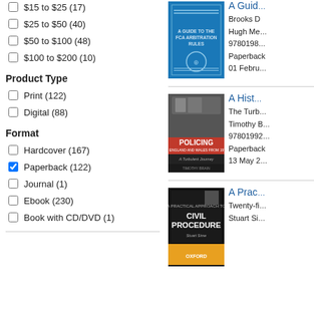$15 to $25 (17)
$25 to $50 (40)
$50 to $100 (48)
$100 to $200 (10)
Product Type
Print (122)
Digital (88)
Format
Hardcover (167)
Paperback (122)
Journal (1)
Ebook (230)
Book with CD/DVD (1)
[Figure (photo): Book cover: A Guide to the FCA Arbitration Rules - blue cover]
A Guid...
Brooks D, Hugh Me...
9780198...
Paperback
01 Febru...
[Figure (photo): Book cover: A History of Policing in England and Wales from 1974 - A Turbulent Journey, black and white photo cover]
A Hist...
The Turb...
Timothy B...
97801992...
Paperback
13 May 2...
[Figure (photo): Book cover: A Practical Approach to Civil Procedure by Stuart Sime - black cover with gold text]
A Prac...
Twenty-fi...
Stuart Si...